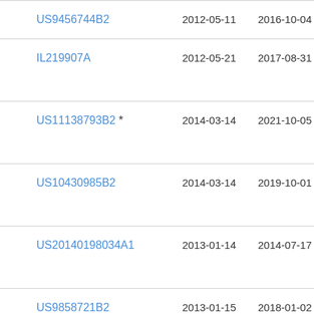| Patent | Filed | Published | Title |
| --- | --- | --- | --- |
| US9456744B2 | 2012-05-11 | 2016-10-04 | Dig… |
| IL219907A | 2012-05-21 | 2017-08-31 | Lur… |
| US11138793B2 * | 2014-03-14 | 2021-10-05 | Ma… |
| US10430985B2 | 2014-03-14 | 2019-10-01 | Ma… |
| US20140198034A1 | 2013-01-14 | 2014-07-17 | Tha… |
| US9858721B2 | 2013-01-15 | 2018-01-02 | The… |